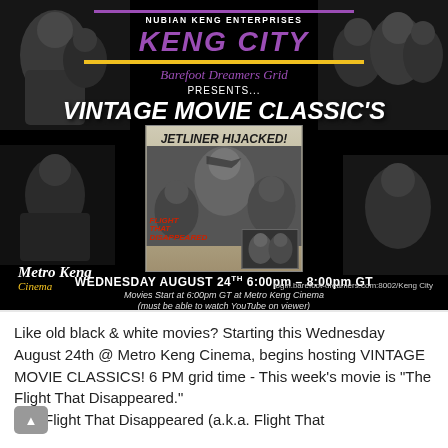[Figure (illustration): Keng City Vintage Movie Classics event poster on black background with vintage movie stills, showing 'Jetliner Hijacked! / Flight That Disappeared' movie poster in center. Includes Nubian Keng Enterprises branding, Barefoot Dreamers Grid, Metro Keng Cinema logo, date Wednesday August 24th 6:00pm-8:00pm GT, and URL login.barefoot-dreamers.com:8002/Keng City]
Like old black & white movies? Starting this Wednesday August 24th @ Metro Keng Cinema, begins hosting VINTAGE MOVIE CLASSICS! 6 PM grid time - This week's movie is "The Flight That Disappeared."
The Flight That Disappeared (a.k.a. Flight That